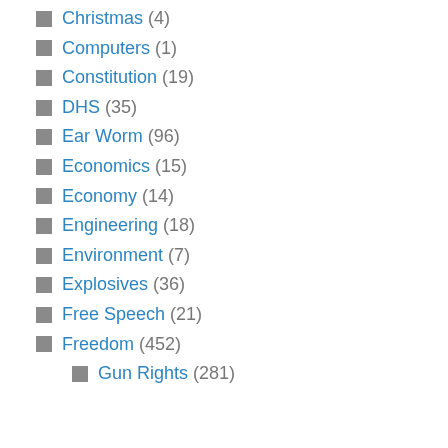Christmas (4)
Computers (1)
Constitution (19)
DHS (35)
Ear Worm (96)
Economics (15)
Economy (14)
Engineering (18)
Environment (7)
Explosives (36)
Free Speech (21)
Freedom (452)
Gun Rights (281)